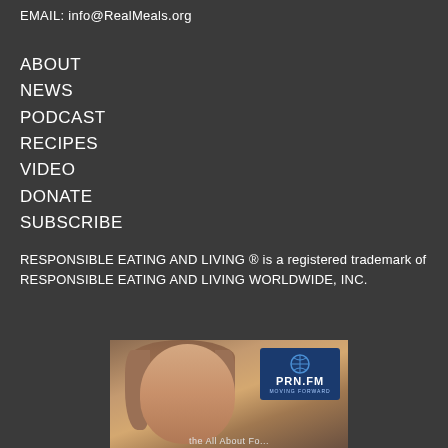EMAIL: info@RealMeals.org
ABOUT
NEWS
PODCAST
RECIPES
VIDEO
DONATE
SUBSCRIBE
RESPONSIBLE EATING AND LIVING ® is a registered trademark of RESPONSIBLE EATING AND LIVING WORLDWIDE, INC.
[Figure (photo): Woman smiling with PRN.FM Moving Forward logo in top right corner]